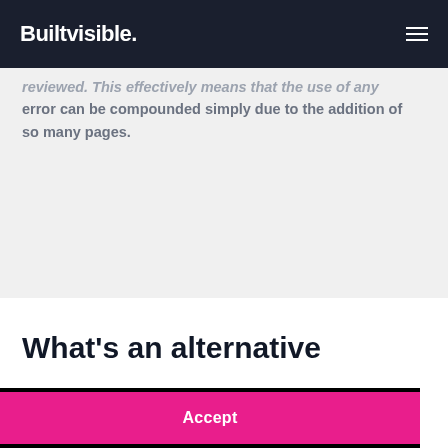Builtvisible.
reviewed. This effectively means that the use of any error can be compounded simply due to the addition of so many pages.
What’s an alternative
This website uses cookies to ensure you get the best experience on our website.
Privacy Policy
Accept
an alternative approach to target an international